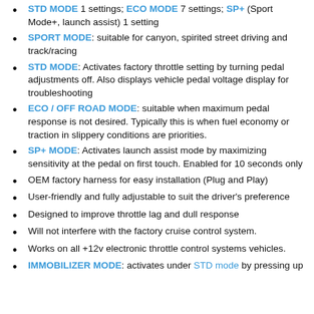STD MODE 1 settings; ECO MODE 7 settings; SP+ (Sport Mode+, launch assist) 1 setting
SPORT MODE: suitable for canyon, spirited street driving and track/racing
STD MODE: Activates factory throttle setting by turning pedal adjustments off. Also displays vehicle pedal voltage display for troubleshooting
ECO / OFF ROAD MODE: suitable when maximum pedal response is not desired. Typically this is when fuel economy or traction in slippery conditions are priorities.
SP+ MODE: Activates launch assist mode by maximizing sensitivity at the pedal on first touch. Enabled for 10 seconds only
OEM factory harness for easy installation (Plug and Play)
User-friendly and fully adjustable to suit the driver's preference
Designed to improve throttle lag and dull response
Will not interfere with the factory cruise control system.
Works on all +12v electronic throttle control systems vehicles.
IMMOBILIZER MODE: activates under STD mode by pressing up